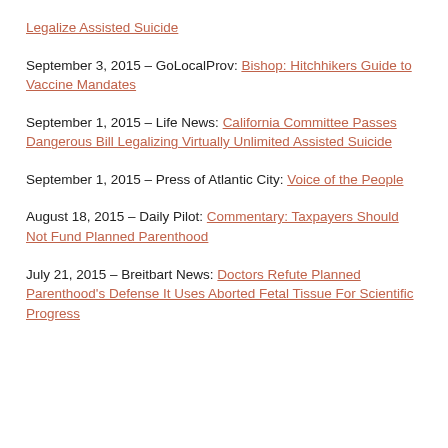Legalize Assisted Suicide
September 3, 2015 – GoLocalProv: Bishop: Hitchhikers Guide to Vaccine Mandates
September 1, 2015 – Life News: California Committee Passes Dangerous Bill Legalizing Virtually Unlimited Assisted Suicide
September 1, 2015 – Press of Atlantic City: Voice of the People
August 18, 2015 – Daily Pilot: Commentary: Taxpayers Should Not Fund Planned Parenthood
July 21, 2015 – Breitbart News: Doctors Refute Planned Parenthood's Defense It Uses Aborted Fetal Tissue For Scientific Progress